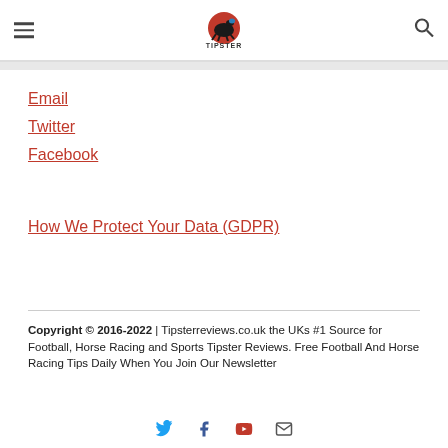TIPSTER REVIEWS logo with hamburger menu and search icon
Email
Twitter
Facebook
How We Protect Your Data (GDPR)
Copyright © 2016-2022 | Tipsterreviews.co.uk the UKs #1 Source for Football, Horse Racing and Sports Tipster Reviews. Free Football And Horse Racing Tips Daily When You Join Our Newsletter